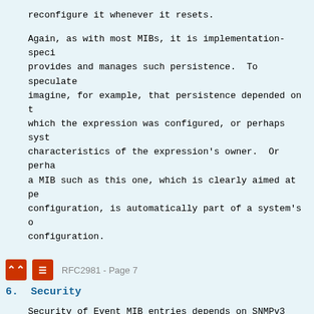reconfigure it whenever it resets.
Again, as with most MIBs, it is implementation-specific as to what provides and manages such persistence.  To speculate a bit, one might imagine, for example, that persistence depended on the means by which the expression was configured, or perhaps system-management characteristics of the expression's owner.  Or perhaps persistence in a MIB such as this one, which is clearly aimed at persistent network configuration, is automatically part of a system's overall persistent configuration.
RFC2981 - Page 7
6.  Security
Security of Event MIB entries depends on SNMPv3 access control for the entire MIB or for subsets based on entry owner names.
Security of monitored objects for remote access depends on the Management Target MIB [RFC2573].  Security for local monitoring is